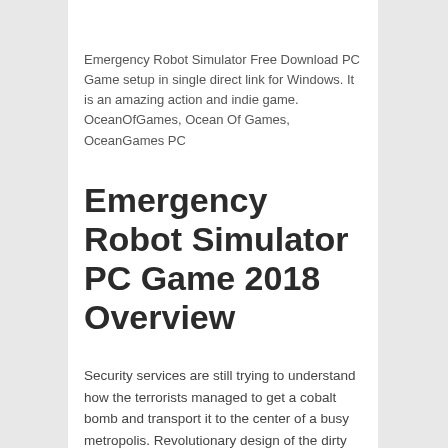Emergency Robot Simulator Free Download PC Game setup in single direct link for Windows. It is an amazing action and indie game. OceanOfGames, Ocean Of Games, OceanGames PC
Emergency Robot Simulator PC Game 2018 Overview
Security services are still trying to understand how the terrorists managed to get a cobalt bomb and transport it to the center of a busy metropolis. Revolutionary design of the dirty bomb instantly turned the prosperous city into the dark radioactive concrete jungle. Most of the population has been evacuated to safety, but there still should be a lot of people within the contaminated zone. The search